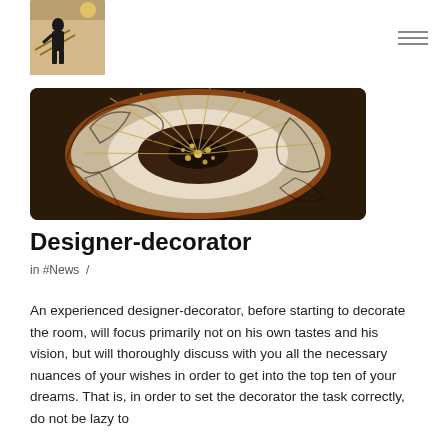[Figure (photo): Small portrait photo of a person standing near a staircase railing, used as website logo/header image]
[Figure (photo): Aerial/top-down view of a spiral staircase with ornate wrought iron railings and a chandelier visible in the center, viewed from above]
Designer-decorator
in #News /
An experienced designer-decorator, before starting to decorate the room, will focus primarily not on his own tastes and his vision, but will thoroughly discuss with you all the necessary nuances of your wishes in order to get into the top ten of your dreams. That is, in order to set the decorator the task correctly, do not be lazy to